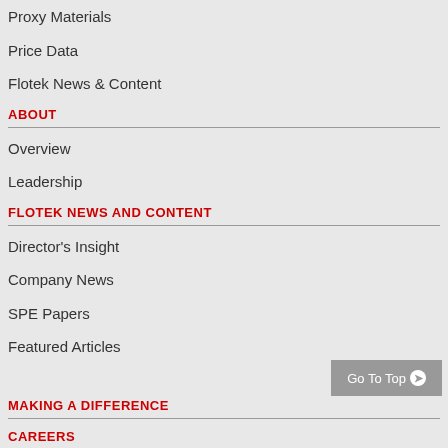Proxy Materials
Price Data
Flotek News & Content
ABOUT
Overview
Leadership
FLOTEK NEWS AND CONTENT
Director's Insight
Company News
SPE Papers
Featured Articles
MAKING A DIFFERENCE
CAREERS
CONTACT